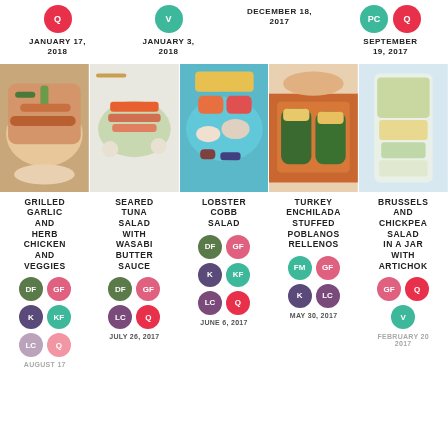[Figure (infographic): Top row of recipe badges and dates: Q badge JANUARY 17 2018, V badge JANUARY 3 2018, DECEMBER 18 2017, PC+Q badges SEPTEMBER 19 2017]
[Figure (photo): Row of 5 food photos: grilled garlic herb chicken and veggies, seared tuna salad, lobster cobb salad, turkey enchilada stuffed poblanos, brussels and chickpea salad in a jar]
GRILLED GARLIC AND HERB CHICKEN AND VEGGIES
SEARED TUNA SALAD WITH WASABI BUTTER SAUCE
LOBSTER COBB SALAD
TURKEY ENCHILADA STUFFED POBLANOS RELLENOS
BRUSSELS AND CHICKPEA SALAD IN A JAR WITH ARTICHOK
JUNE 6, 2017
MAY 30, 2017
JULY 26, 2017
AUGUST 17
FEBRUARY 20 2017